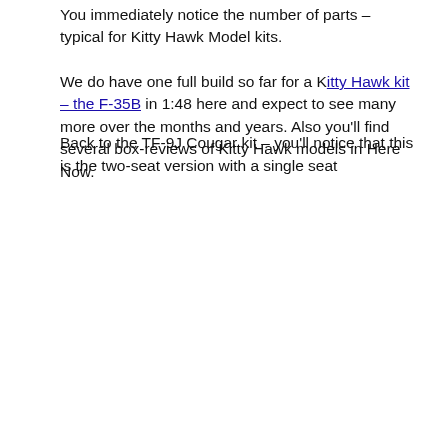You immediately notice the number of parts – typical for Kitty Hawk Model kits.
We do have one full build so far for a Kitty Hawk kit – the F-35B in 1:48 here and expect to see many more over the months and years. Also you'll find several box-reviews of Kitty Hawk models in Here Now.
Back to the TF-9J Cougar kit – you'll notice that this is the two-seat version with a single seat leaving one more seat off...